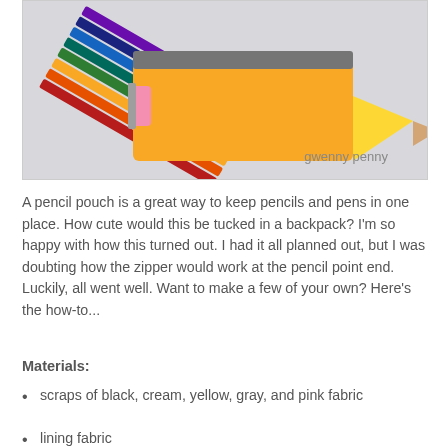[Figure (photo): A pencil-shaped fabric pouch with colored pencils fanned out from the top, on a light gray background. The zipper pouch is yellow with a pointed pencil tip design. Watermark reads 'gwenny penny'.]
A pencil pouch is a great way to keep pencils and pens in one place. How cute would this be tucked in a backpack? I'm so happy with how this turned out. I had it all planned out, but I was doubting how the zipper would work at the pencil point end. Luckily, all went well. Want to make a few of your own? Here's the how-to...
Materials:
scraps of black, cream, yellow, gray, and pink fabric
lining fabric